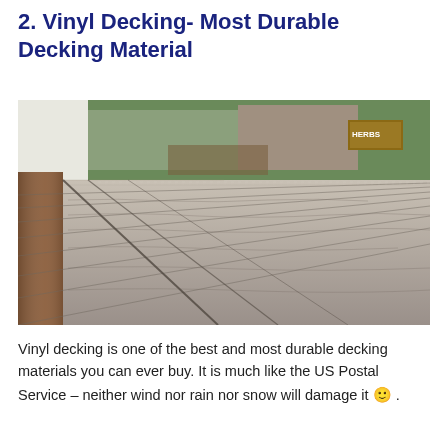2. Vinyl Decking- Most Durable Decking Material
[Figure (photo): Close-up photograph of gray vinyl decking planks with wood-grain texture, viewed from a low angle. A wooden post is visible on the left, and a garden area with a bench and signs in the background.]
Vinyl decking is one of the best and most durable decking materials you can ever buy. It is much like the US Postal Service – neither wind nor rain nor snow will damage it 🙂 .